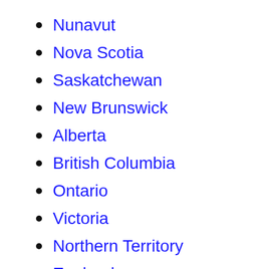Nunavut
Nova Scotia
Saskatchewan
New Brunswick
Alberta
British Columbia
Ontario
Victoria
Northern Territory
England
Manitoba